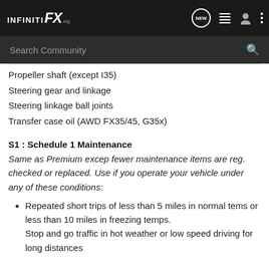INFINITI FX .org — Navigation bar with NEW, list, user, and menu icons
Propeller shaft (except I35)
Steering gear and linkage
Steering linkage ball joints
Transfer case oil (AWD FX35/45, G35x)
S1 : Schedule 1 Maintenance
Same as Premium excep fewer maintenance items are reg. checked or replaced. Use if you operate your vehicle under any of these conditions:
Repeated short trips of less than 5 miles in normal tems or less than 10 miles in freezing temps.
Stop and go traffic in hot weather or low speed driving for long distances